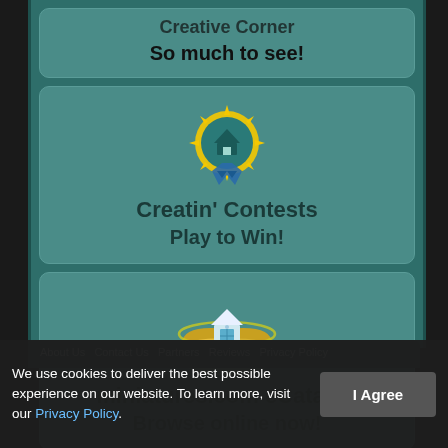Creative Corner
So much to see!
[Figure (illustration): House medal/award icon with gold sunburst border and teal ribbon]
Creatin' Contests
Play to Win!
[Figure (illustration): House on open book with orbital rings icon]
miniatures.com eCatalog
Browse online now!
About Us  Contact Us  Partners  Reviews  Privacy Policy
We use cookies to deliver the best possible experience on our website. To learn more, visit our Privacy Policy.